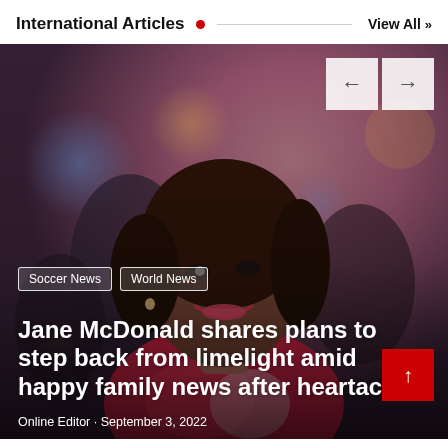International Articles · View All »
[Figure (photo): A smiling woman with dark hair at an outdoor event, photograph overlaid with article headline text]
Soccer News  World News
Jane McDonald shares plans to step back from limelight amid happy family news after heartache
Online Editor · September 3, 2022